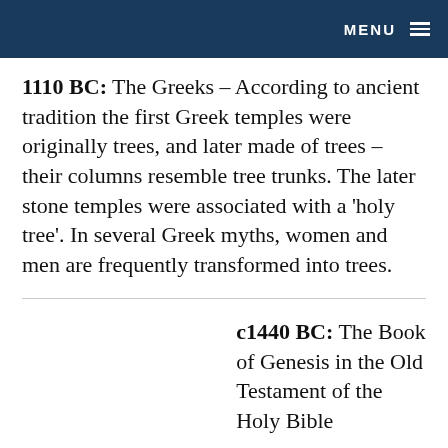MENU
1110 BC: The Greeks – According to ancient tradition the first Greek temples were originally trees, and later made of trees – their columns resemble tree trunks. The later stone temples were associated with a 'holy tree'. In several Greek myths, women and men are frequently transformed into trees.
c1440 BC: The Book of Genesis in the Old Testament of the Holy Bible